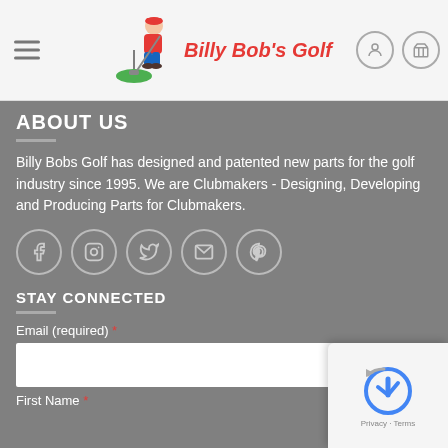Billy Bob's Golf
ABOUT US
Billy Bobs Golf has designed and patented new parts for the golf industry since 1995. We are Clubmakers - Designing, Developing and Producing Parts for Clubmakers.
[Figure (infographic): Social media icons: Facebook, Instagram, Twitter, Email, Pinterest – each in a grey circle]
STAY CONNECTED
Email (required) *
First Name *